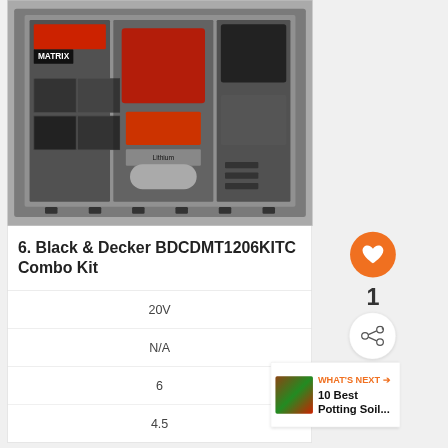[Figure (photo): Black & Decker BDCDMT1206KITC Combo Kit power tools displayed in a clear plastic carrying case with multiple compartments containing drills, attachments, and batteries. The box shows 'MATRIX' branding.]
6. Black & Decker BDCDMT1206KITC Combo Kit
20V
N/A
6
4.5